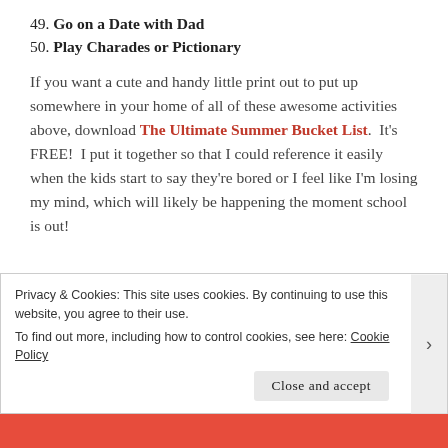49. Go on a Date with Dad
50. Play Charades or Pictionary
If you want a cute and handy little print out to put up somewhere in your home of all of these awesome activities above, download The Ultimate Summer Bucket List.  It’s FREE!  I put it together so that I could reference it easily when the kids start to say they’re bored or I feel like I’m losing my mind, which will likely be happening the moment school is out!
Privacy & Cookies: This site uses cookies. By continuing to use this website, you agree to their use.
To find out more, including how to control cookies, see here: Cookie Policy
Close and accept